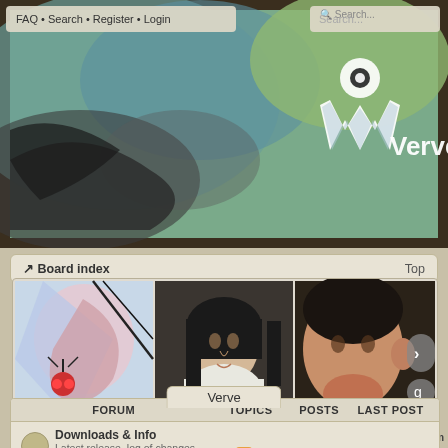FAQ • Search • Register • Login | Search...
[Figure (illustration): Verve Paint forum banner with logo and artistic background painting]
↗ Board index  Top
[Figure (photo): Gallery of three digital paintings: abstract colorful art, portrait of woman in nun habit, portrait of person with expressive face]
View unanswered posts • View active topics   It is currently Wed Aug 24, 2022 2:34 am
Verve
| FORUM | TOPICS | POSTS | LAST POST |
| --- | --- | --- | --- |
| Downloads & Info
Latest release, log of changes and documentation | 6 | 322 |  |
Downloads & Info - Latest release, log of changes and documentation